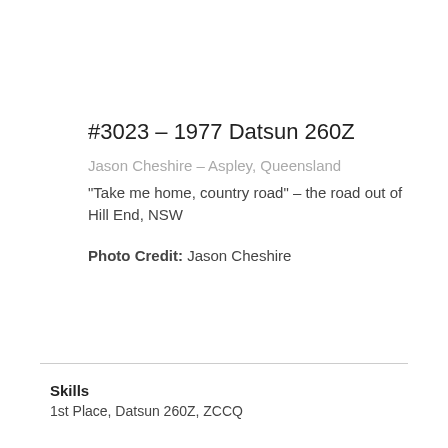#3023 – 1977 Datsun 260Z
Jason Cheshire – Aspley, Queensland
“Take me home, country road” – the road out of Hill End, NSW
Photo Credit: Jason Cheshire
Skills
1st Place, Datsun 260Z, ZCCQ